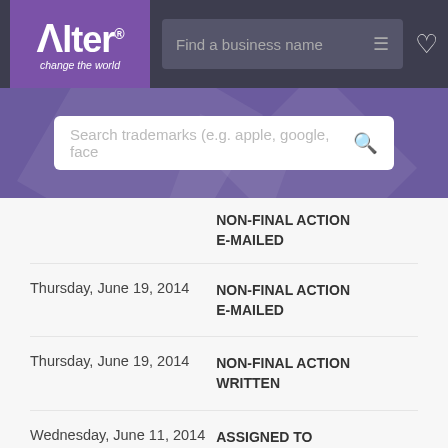[Figure (screenshot): Alter app logo with purple background, tagline 'change the world']
Find a business name
Search trademarks (e.g. apple, google, face
| Date | Status |
| --- | --- |
|  | NON-FINAL ACTION E-MAILED |
| Thursday, June 19, 2014 | NON-FINAL ACTION E-MAILED |
| Thursday, June 19, 2014 | NON-FINAL ACTION WRITTEN |
| Wednesday, June 11, 2014 | ASSIGNED TO EXAMINER |
| Tuesday, April 8, 2014 | NOTICE OF PSEUDO MARK E-MAILED |
| Monday, April 7, 2014 | NEW APPLICATION OFFICE SUPPLIED |